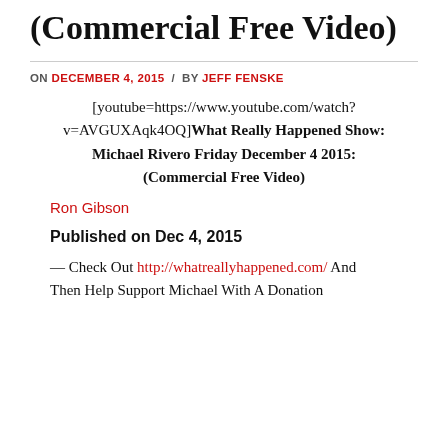(Commercial Free Video)
ON DECEMBER 4, 2015 / BY JEFF FENSKE
[youtube=https://www.youtube.com/watch?v=AVGUXAqk4OQ]What Really Happened Show: Michael Rivero Friday December 4 2015: (Commercial Free Video)
Ron Gibson
Published on Dec 4, 2015
— Check Out http://whatreallyhappened.com/ And Then Help Support Michael With A Donation